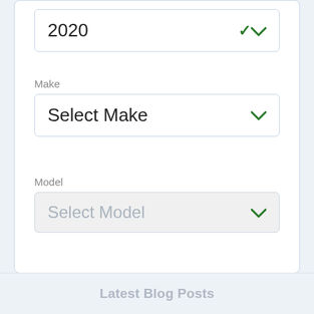2020
Make
Select Make
Model
Select Model
Search
Reset
Latest Blog Posts